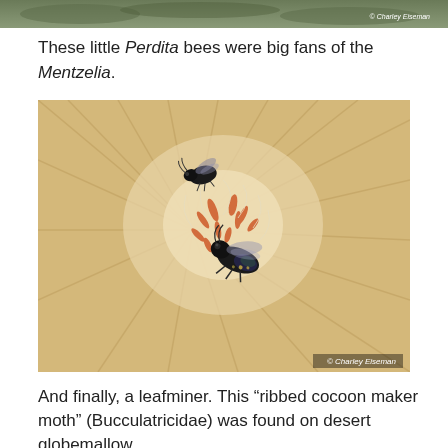[Figure (photo): Top portion of a photo showing plant/flower background, partially cropped at top of page, with photo credit 'Charley Eiseman' in bottom right]
These little Perdita bees were big fans of the Mentzelia.
[Figure (photo): Close-up macro photograph of two small dark Perdita bees on a pale peach/cream colored flower with orange stamens, taken inside the flower. Photo credit: © Charley Eiseman]
And finally, a leafminer. This “ribbed cocoon maker moth” (Bucculatricidae) was found on desert globemallow